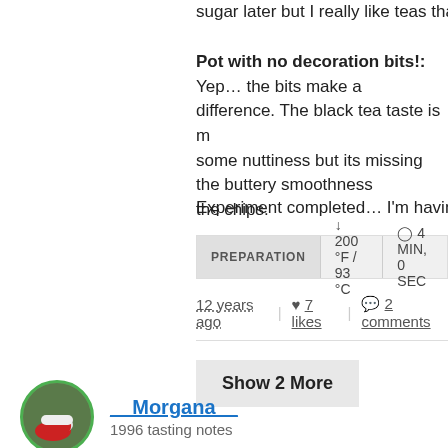sugar later but I really like teas that I don't have to put a
Pot with no decoration bits!:
Yep… the bits make a difference. The black tea taste is more prominent, some nuttiness but its missing the buttery smoothness that came with the chips.
Experiment completed… I'm having this with milk and s
PREPARATION  ↓ 200 °F / 93 °C  ⏱ 4 MIN, 0 SEC
12 years ago  |  ♥ 7 likes  |  💬 2 comments
Show 2 More
__Morgana__
1996 tasting notes